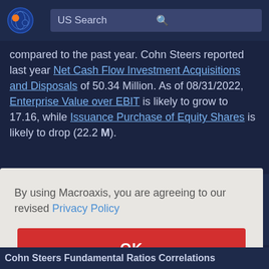US Search
compared to the past year. Cohn Steers reported last year Net Cash Flow Investment Acquisitions and Disposals of 50.34 Million. As of 08/31/2022, Enterprise Value over EBIT is likely to grow to 17.16, while Issuance Purchase of Equity Shares is likely to drop (22.2 M).
By using Macroaxis, you are agreeing to our revised Privacy Policy
OK
cted)
52 M
01 M
Cohn Steers Fundamental Ratios Correlations